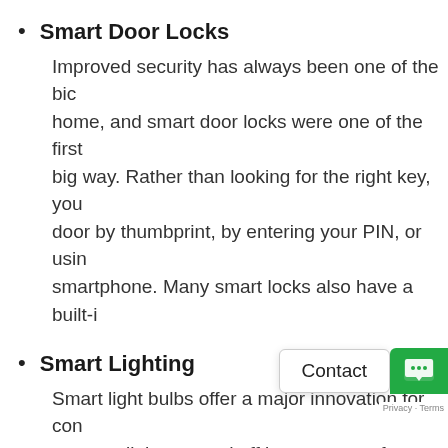Smart Door Locks
Improved security has always been one of the big home, and smart door locks were one of the first big way. Rather than looking for the right key, you door by thumbprint, by entering your PIN, or usin smartphone. Many smart locks also have a built-i
Smart Lighting
Smart light bulbs offer a major innovation for con can turn lights on and off in any room of your hon or a smartphone app, including dimmer settings, adjust the brightness of certain lights. Of course, t forgot to turn off the downstairs lights before tuck night, you could switch them off without getting o
Smart Cameras
Security cameras have come a you amazing control and security without invadin